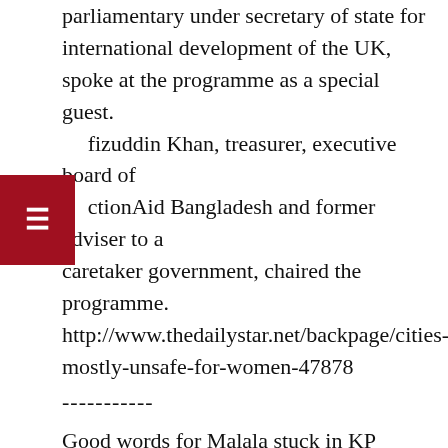parliamentary under secretary of state for international development of the UK, spoke at the programme as a special guest.
Hafizuddin Khan, treasurer, executive board of ActionAid Bangladesh and former adviser to a caretaker government, chaired the programme. http://www.thedailystar.net/backpage/cities-mostly-unsafe-for-women-47878
-----------
Good words for Malala stuck in KP Assembly secretariat
By Zulfiqar Ali
October 29th , 2014
PESHAWAR: A resolution for Nobel laureate Malala Yousefzai has got stuck in the Khyber